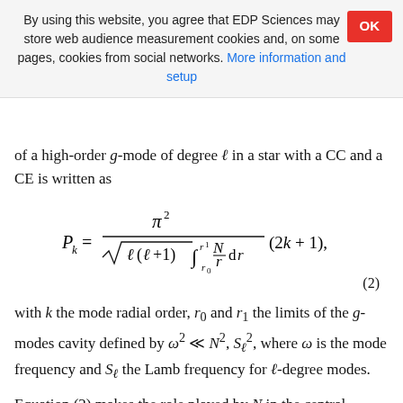By using this website, you agree that EDP Sciences may store web audience measurement cookies and, on some pages, cookies from social networks. More information and setup
of a high-order g-mode of degree ℓ in a star with a CC and a CE is written as
(2)
with k the mode radial order, r₀ and r₁ the limits of the g-modes cavity defined by ω² ≪ N², S²ℓ, where ω is the mode frequency and Sℓ the Lamb frequency for ℓ-degree modes.
Equation (2) makes the role played by N in the central regions evident in the determination of γ Dor oscillation